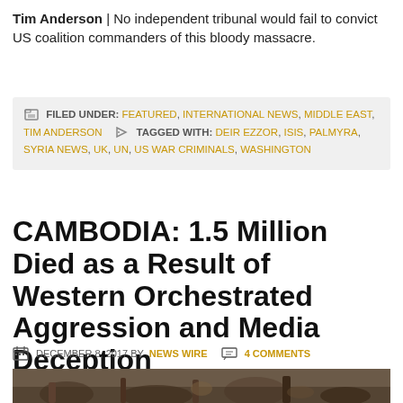Tim Anderson | No independent tribunal would fail to convict US coalition commanders of this bloody massacre.
FILED UNDER: FEATURED, INTERNATIONAL NEWS, MIDDLE EAST, TIM ANDERSON  TAGGED WITH: DEIR EZZOR, ISIS, PALMYRA, SYRIA NEWS, UK, UN, US WAR CRIMINALS, WASHINGTON
CAMBODIA: 1.5 Million Died as a Result of Western Orchestrated Aggression and Media Deception
DECEMBER 8, 2017 BY NEWS WIRE  4 COMMENTS
[Figure (photo): Photograph of people sitting outdoors on the ground, appearing to be in a rural or village setting, partially visible at bottom of page.]